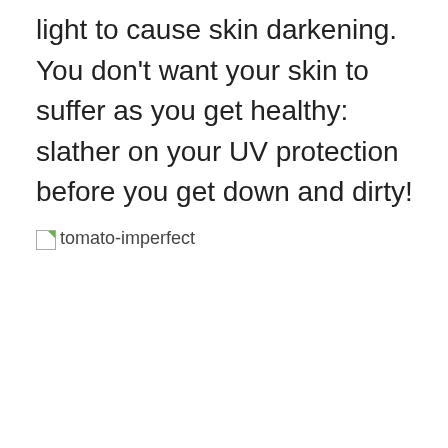light to cause skin darkening. You don't want your skin to suffer as you get healthy: slather on your UV protection before you get down and dirty!
[Figure (photo): Broken image placeholder with alt text 'tomato-imperfect']